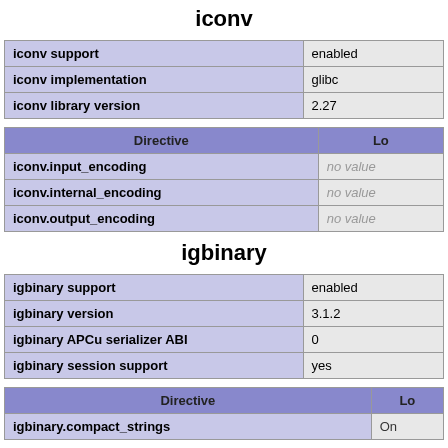iconv
| iconv support | enabled |
| iconv implementation | glibc |
| iconv library version | 2.27 |
| Directive | Lo |
| --- | --- |
| iconv.input_encoding | no value |
| iconv.internal_encoding | no value |
| iconv.output_encoding | no value |
igbinary
| igbinary support | enabled |
| igbinary version | 3.1.2 |
| igbinary APCu serializer ABI | 0 |
| igbinary session support | yes |
| Directive | Lo |
| --- | --- |
| igbinary.compact_strings | On |
ima